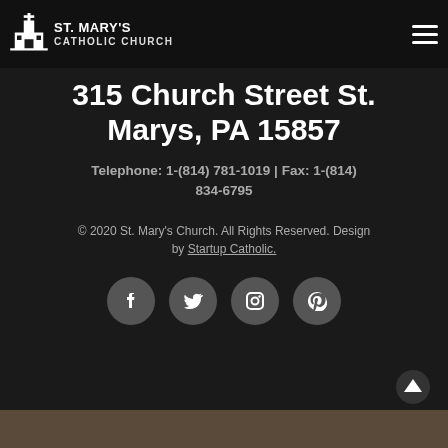ST. MARY'S CATHOLIC CHURCH
315 Church Street St. Marys, PA 15857
Telephone: 1-(814) 781-1019 | Fax: 1-(814) 834-6795
© 2020 St. Mary's Church. All Rights Reserved. Design by Startup Catholic.
[Figure (other): Social media icons row: Facebook, Twitter, Instagram, Pinterest]
[Figure (photo): Bottom image strip showing partial outdoor scene]